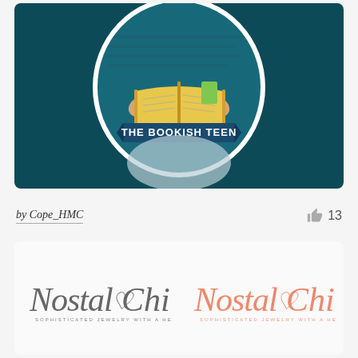[Figure (logo): The Bookish Teen logo: circular badge with a teen holding an open yellow book on a dark teal background]
by Cope_HMC
13
[Figure (logo): Nostal Chic logo shown in two color variants: dark grey script and pink/coral script, with subtitle 'SOPHISTICATED JEWELRY WITH A HEART']